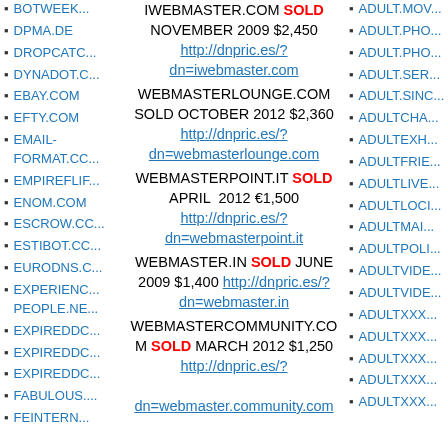BOTWEEK... (truncated)
DPMA.DE
DROPCATCH...
DYNADOT.C...
EBAY.COM
EFTY.COM
EMAIL-FORMAT.CO...
EMPIREFLI...
ENOM.COM
ESCROW.CC...
ESTIBOT.CC...
EURODNS.C...
EXPERIENC... PEOPLE.NE...
EXPIREDDO...
EXPIREDDO...
EXPIREDDO...
FABULOUS....
FEINTERNAL...
IWEBMASTER.COM SOLD NOVEMBER 2009 $2,450 http://dnpric.es/?dn=iwebmaster.com
WEBMASTERLOUNGE.COM SOLD OCTOBER 2012 $2,360 http://dnpric.es/?dn=webmasterlounge.com
WEBMASTERPOINT.IT SOLD APRIL 2012 €1,500 http://dnpric.es/?dn=webmasterpoint.it
WEBMASTER.IN SOLD JUNE 2009 $1,400 http://dnpric.es/?dn=webmaster.in
WEBMASTERCOMMUNITY.COM SOLD MARCH 2012 $1,250 http://dnpric.es/?dn=webmaster.community.com
ADULT.MOV...
ADULT.PHO...
ADULT.PHO...
ADULT.SER...
ADULT.SINC...
ADULTCHA...
ADULTEXH...
ADULTFRIE...
ADULTLIVE...
ADULTLOCI...
ADULTMAI...
ADULTPOLI...
ADULTVIDE...
ADULTVIDE...
ADULTXXX...
ADULTXXX...
ADULTXXX...
ADULTXXX...
ADULTXXX...